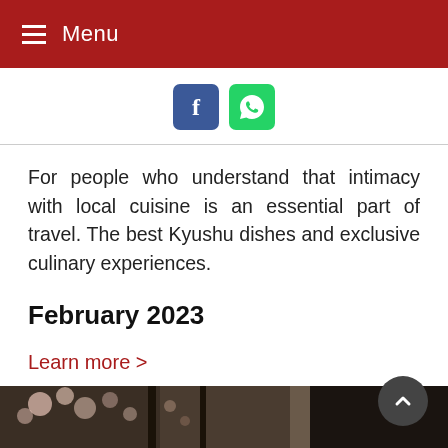Menu
[Figure (other): Facebook and WhatsApp social share buttons]
For people who understand that intimacy with local cuisine is an essential part of travel. The best Kyushu dishes and exclusive culinary experiences.
February 2023
Learn more >
Message us >
[Figure (photo): Partial photo strip at the bottom showing cherry blossoms and dark background scenery]